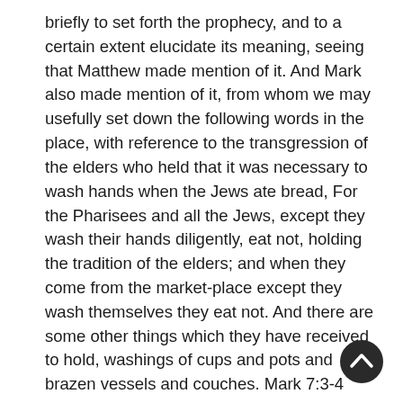briefly to set forth the prophecy, and to a certain extent elucidate its meaning, seeing that Matthew made mention of it. And Mark also made mention of it, from whom we may usefully set down the following words in the place, with reference to the transgression of the elders who held that it was necessary to wash hands when the Jews ate bread, For the Pharisees and all the Jews, except they wash their hands diligently, eat not, holding the tradition of the elders; and when they come from the market-place except they wash themselves they eat not. And there are some other things which they have received to hold, washings of cups and pots and brazen vessels and couches. Mark 7:3-4
[Figure (other): Circular scroll-to-top button with upward chevron arrow, dark background]